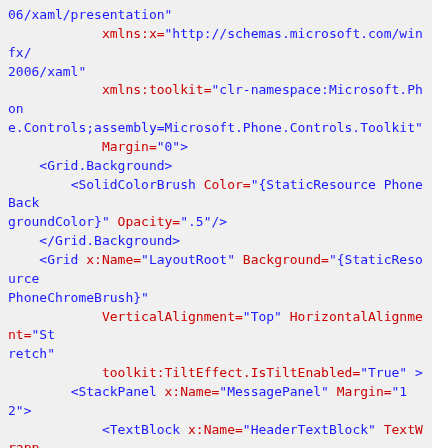XAML code snippet showing XML namespace declarations and UI element definitions including Grid, SolidColorBrush, StackPanel, and TextBlock elements with various attributes